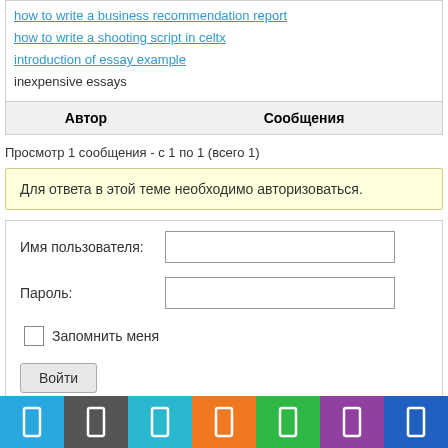how to write a business recommendation report
how to write a shooting script in celtx
introduction of essay example
inexpensive essays
| Автор | Сообщения |
| --- | --- |
Просмотр 1 сообщения - с 1 по 1 (всего 1)
Для ответа в этой теме необходимо авторизоваться.
Имя пользователя:
Пароль:
Запомнить меня
Войти